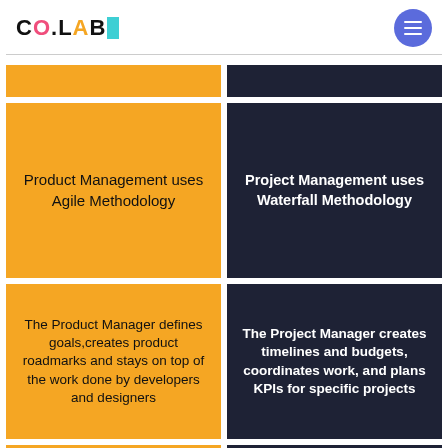CO.LAB
Product Management uses Agile Methodology
Project Management uses Waterfall Methodology
The Product Manager defines goals,creates product roadmarks and stays on top of the work done by developers and designers
The Project Manager creates timelines and budgets, coordinates work, and plans KPIs for specific projects
The Project